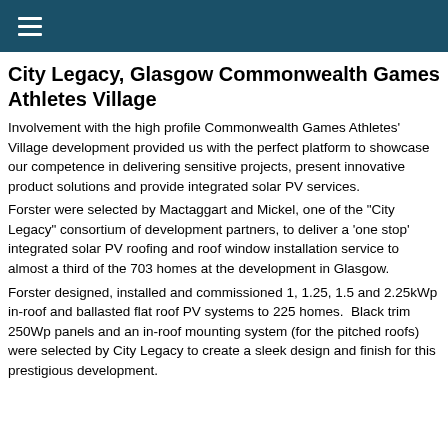≡
City Legacy, Glasgow Commonwealth Games Athletes Village
Involvement with the high profile Commonwealth Games Athletes' Village development provided us with the perfect platform to showcase our competence in delivering sensitive projects, present innovative product solutions and provide integrated solar PV services.
Forster were selected by Mactaggart and Mickel, one of the "City Legacy" consortium of development partners, to deliver a 'one stop' integrated solar PV roofing and roof window installation service to almost a third of the 703 homes at the development in Glasgow.
Forster designed, installed and commissioned 1, 1.25, 1.5 and 2.25kWp in-roof and ballasted flat roof PV systems to 225 homes.  Black trim 250Wp panels and an in-roof mounting system (for the pitched roofs) were selected by City Legacy to create a sleek design and finish for this prestigious development.